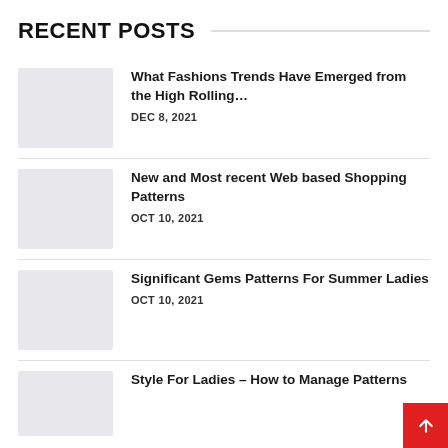RECENT POSTS
What Fashions Trends Have Emerged from the High Rolling…
DEC 8, 2021
New and Most recent Web based Shopping Patterns
OCT 10, 2021
Significant Gems Patterns For Summer Ladies
OCT 10, 2021
Style For Ladies – How to Manage Patterns